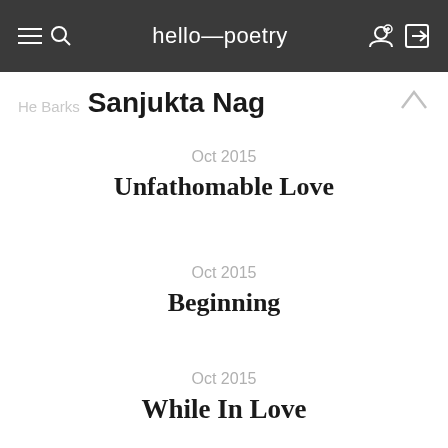hello—poetry
Sanjukta Nag
Oct 2015
Unfathomable Love
Oct 2015
Beginning
Oct 2015
While In Love